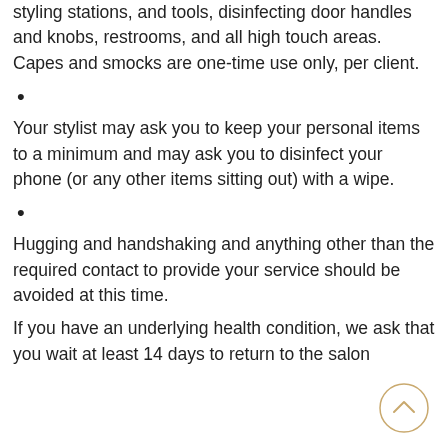styling stations, and tools, disinfecting door handles and knobs, restrooms, and all high touch areas. Capes and smocks are one-time use only, per client.
•
Your stylist may ask you to keep your personal items to a minimum and may ask you to disinfect your phone (or any other items sitting out) with a wipe.
•
Hugging and handshaking and anything other than the required contact to provide your service should be avoided at this time.
If you have an underlying health condition, we ask that you wait at least 14 days to return to the salon